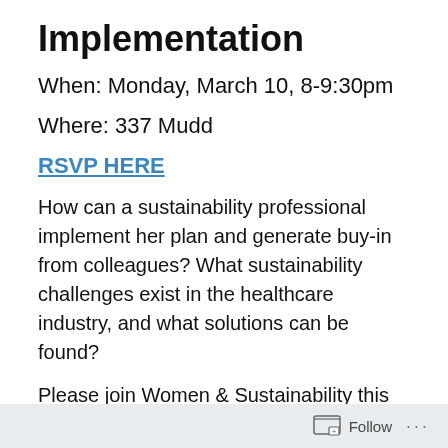Implementation
When: Monday, March 10, 8-9:30pm
Where: 337 Mudd
RSVP HERE
How can a sustainability professional implement her plan and generate buy-in from colleagues? What sustainability challenges exist in the healthcare industry, and what solutions can be found?
Please join Women & Sustainability this Monday evening, where we will discuss these topics and more in an intimate, round-table event with Jessica Prata,
Follow ...